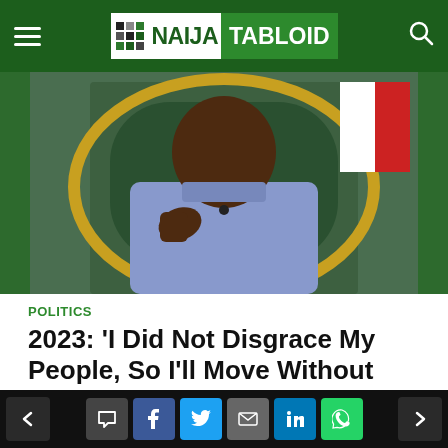NAIJA TABLOID
[Figure (photo): Man in purple/blue traditional outfit sitting in an ornate gold-framed chair, gesturing with his hand during what appears to be an interview or speech.]
POLITICS
2023: 'I Did Not Disgrace My People, So I'll Move Without Escorts'
4 hours ago   Add Comment
Ahead of the 2023 election, Rivers State Governor, Nyesom Wike has bragged about